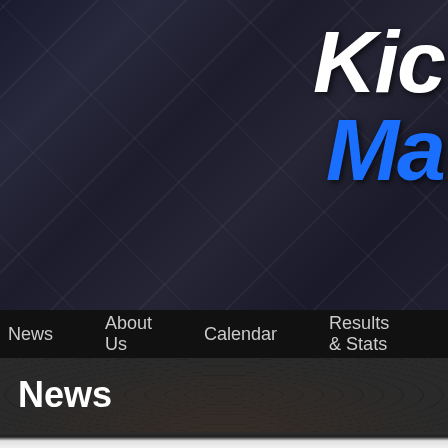[Figure (logo): Kickball website logo with 'Kic' in white italic bold text and 'Ma' in blue italic bold text on dark diagonal streaked background]
News   About Us   Calendar   Results & Stats
News
« Back to News
7th Grade Kickball Scores
webs